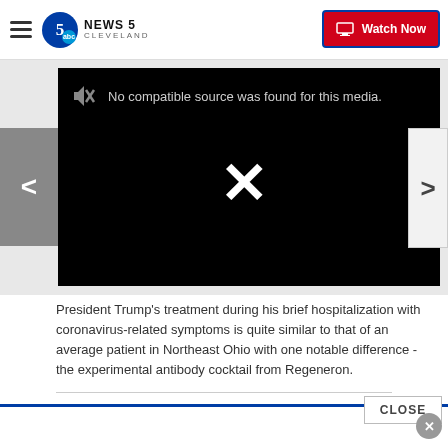NEWS 5 CLEVELAND | Watch Now
[Figure (screenshot): Black video player area showing error message 'No compatible source was found for this media.' with a muted speaker icon, a large white X in the center, and left/right navigation arrows]
President Trump's treatment during his brief hospitalization with coronavirus-related symptoms is quite similar to that of an average patient in Northeast Ohio with one notable difference - the experimental antibody cocktail from Regeneron.